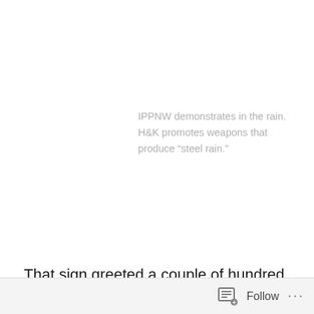IPPNW demonstrates in the rain. H&K promotes weapons that produce “steel rain.”
That sign greeted a couple of hundred participants in IPPNW’s “Human Target” congress as our buses approached the Heckler & Koch headquarters in Oberndorf this morning in a steady rain.
H&K, the largest manufacturer of rifles and handguns in Europe, is increasing its workforce in order to keep up with the demand for weapons that have killed two million people since  its foundation in 1949, according to Jürgen
Follow